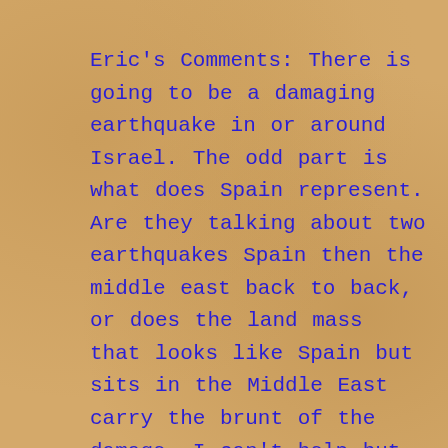Eric's Comments: There is going to be a damaging earthquake in or around Israel. The odd part is what does Spain represent. Are they talking about two earthquakes Spain then the middle east back to back, or does the land mass that looks like Spain but sits in the Middle East carry the brunt of the damage. I can't help but notice the ties to this prediction and Predictions for 2014 where they talked